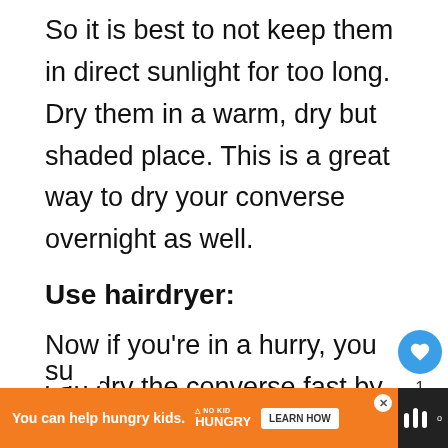So it is best to not keep them in direct sunlight for too long. Dry them in a warm, dry but shaded place. This is a great way to dry your converse overnight as well.
Use hairdryer:
Now if you’re in a hurry, you can dry the converse fast by using a hairdryer. Make su...
[Figure (other): Social interaction widget with heart/like button showing count of 1 and a share button]
[Figure (other): Advertisement banner: orange background with text 'You can help hungry kids.' and No Kid Hungry logo and Learn How button, with close X button]